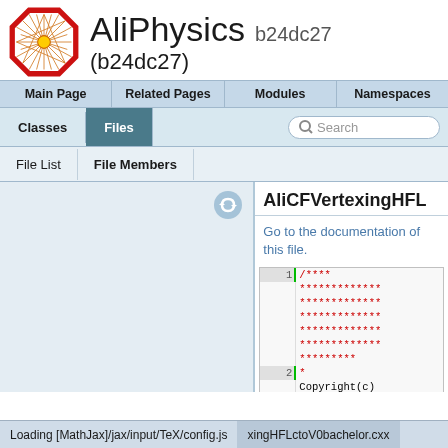AliPhysics b24dc27 (b24dc27)
Main Page | Related Pages | Modules | Namespaces | Classes | Files
File List | File Members
AliCFVertexingHFL
Go to the documentation of this file.
1  /****
   *************
   *************
   *************
   *************
   *************
   *********
2  *
   Copyright(c)
Loading [MathJax]/jax/input/TeX/config.js    xingHFLctoV0bachelor.cxx